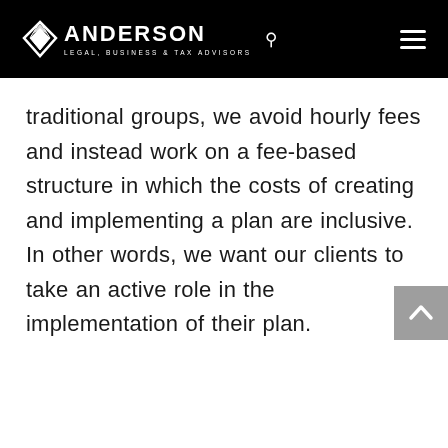ANDERSON LEGAL, BUSINESS & TAX ADVISORS
traditional groups, we avoid hourly fees and instead work on a fee-based structure in which the costs of creating and implementing a plan are inclusive. In other words, we want our clients to take an active role in the implementation of their plan.